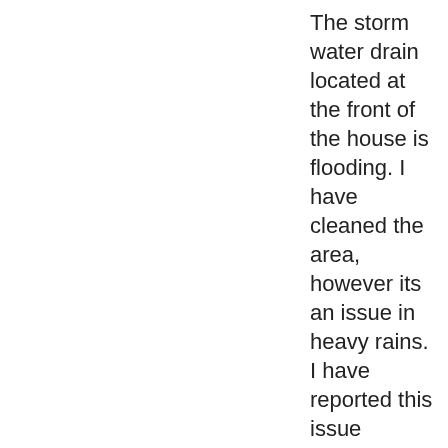The storm water drain located at the front of the house is flooding. I have cleaned the area, however its an issue in heavy rains. I have reported this issue previously as well. Appreciate if someone can come out and address the issue since its the only drain along the st...